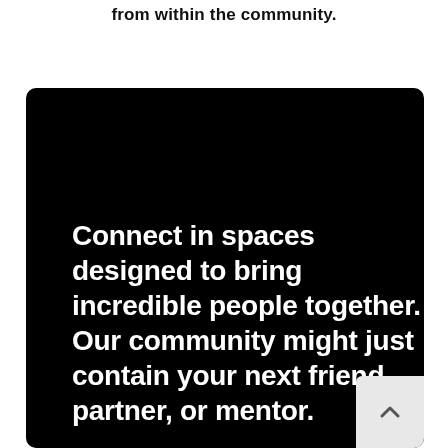from within the community.
[Figure (screenshot): Black card with white bold text reading: Connect in spaces designed to bring incredible people together. Our community might just contain your next friend, partner, or mentor. A light grey scroll-to-top button with an upward chevron is in the bottom-right corner of the card.]